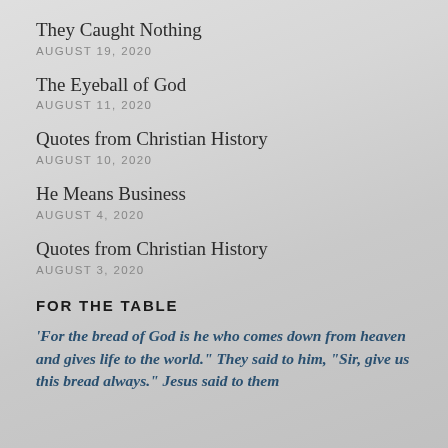They Caught Nothing
AUGUST 19, 2020
The Eyeball of God
AUGUST 11, 2020
Quotes from Christian History
AUGUST 10, 2020
He Means Business
AUGUST 4, 2020
Quotes from Christian History
AUGUST 3, 2020
FOR THE TABLE
‘For the bread of God is he who comes down from heaven and gives life to the world.” They said to him, “Sir, give us this bread always.” Jesus said to them